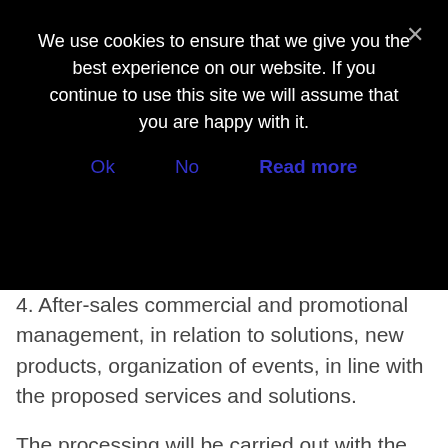We use cookies to ensure that we give you the best experience on our website. If you continue to use this site we will assume that you are happy with it.
Ok   No   Read more
4. After-sales commercial and promotional management, in relation to solutions, new products, organization of events, in line with the proposed services and solutions.
The processing will be carried out with the main support of electronic tools and may concern data and information present on computer or paper media, by authorized individuals.
In general, for the purposes mentioned above, as appropriate, the data will be stored at our company, at the customer's IT infrastructure, at our datacenters, or at our suppliers' datacenter.